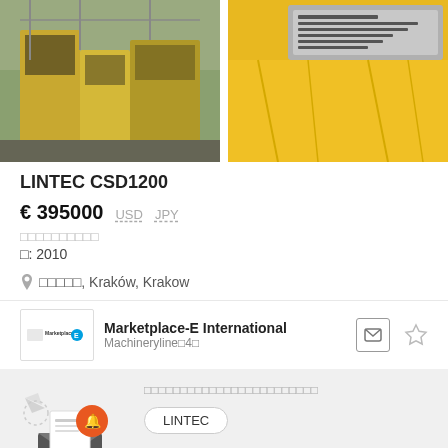[Figure (photo): Two photos side by side: left shows yellow industrial concrete plant equipment (LINTEC CSD1200) on a yard; right shows a close-up of a yellow machine panel/plate.]
LINTEC CSD1200
€ 395000  USD  JPY
□□□□□□□□□□
□: 2010
□□□□□, Kraków, Krakow
Marketplace-E International
Machineryline□4□
□□□□□□□□□□□□□□□□□□□□□□□□
LINTEC